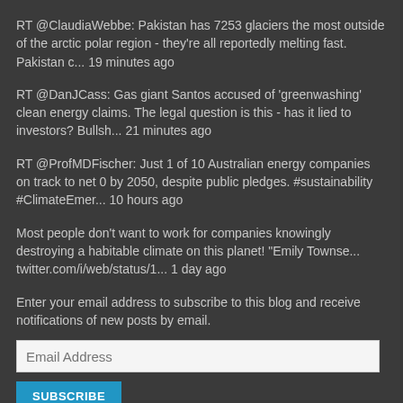RT @ClaudiaWebbe: Pakistan has 7253 glaciers the most outside of the arctic polar region - they're all reportedly melting fast. Pakistan c... 19 minutes ago
RT @DanJCass: Gas giant Santos accused of 'greenwashing' clean energy claims. The legal question is this - has it lied to investors? Bullsh... 21 minutes ago
RT @ProfMDFischer: Just 1 of 10 Australian energy companies on track to net 0 by 2050, despite public pledges. #sustainability #ClimateEmer... 10 hours ago
Most people don't want to work for companies knowingly destroying a habitable climate on this planet! "Emily Townse... twitter.com/i/web/status/1... 1 day ago
Enter your email address to subscribe to this blog and receive notifications of new posts by email.